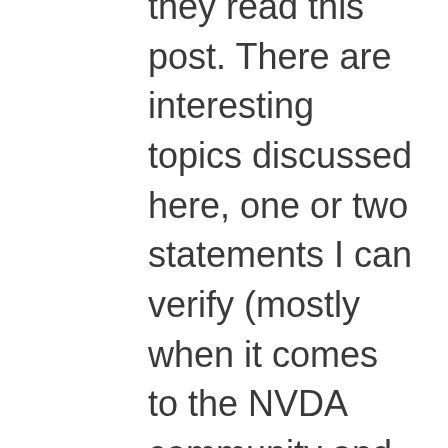they read this post. There are interesting topics discussed here, one or two statements I can verify (mostly when it comes to the NVDA community and NVDACon). Although there are one or two things that worries me, I believe that, when people think about this article, the overall context and implications, it may make sense to some. Unfortunately, from what I can tell, some don't think about the implications presented here before sharing it on social media, and I'd like to ask that folks (especially JAWS users and the members of the NVDA